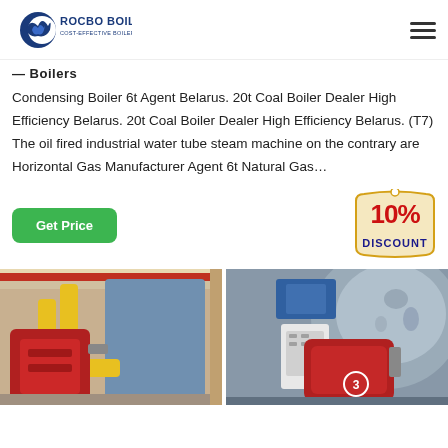[Figure (logo): Rocbo Boiler logo with crescent/flame icon and tagline 'COST-EFFECTIVE BOILER SUPPLIER']
— Boilers
Condensing Boiler 6t Agent Belarus. 20t Coal Boiler Dealer High Efficiency Belarus. 20t Coal Boiler Dealer High Efficiency Belarus. (T7) The oil fired industrial water tube steam machine on the contrary are Horizontal Gas Manufacturer Agent 6t Natural Gas...
[Figure (infographic): 10% DISCOUNT badge/sticker in red and gold]
[Figure (photo): Industrial boiler room with yellow pipes and red boiler unit]
[Figure (photo): Industrial boiler with red burner unit labeled 3, grey spherical tank in background]